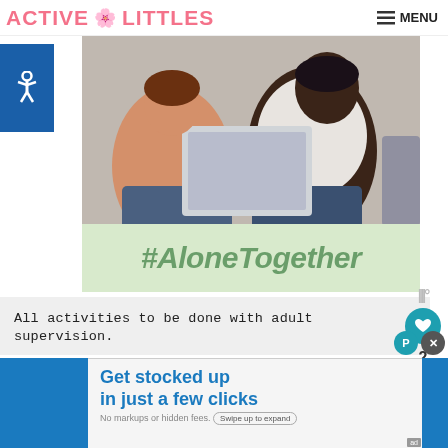ACTIVE LITTLES | MENU
[Figure (photo): Two people sitting on a couch using a laptop together]
#AloneTogether
All activities to be done with adult supervision.
[Figure (other): Loading spinner with blue and red dashes]
[Figure (other): What's Next thumbnail — Turkey Craft for Kids usi...]
[Figure (other): Advertisement banner: Get stocked up in just a few clicks. No markups or hidden fees. Swipe up to expand.]